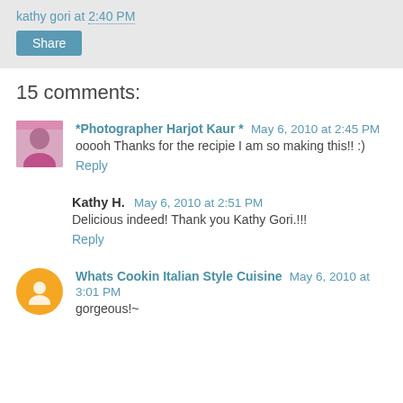kathy gori at 2:40 PM
Share
15 comments:
*Photographer Harjot Kaur * May 6, 2010 at 2:45 PM
ooooh Thanks for the recipie I am so making this!! :)
Reply
Kathy H. May 6, 2010 at 2:51 PM
Delicious indeed! Thank you Kathy Gori.!!!
Reply
Whats Cookin Italian Style Cuisine May 6, 2010 at 3:01 PM
gorgeous!~